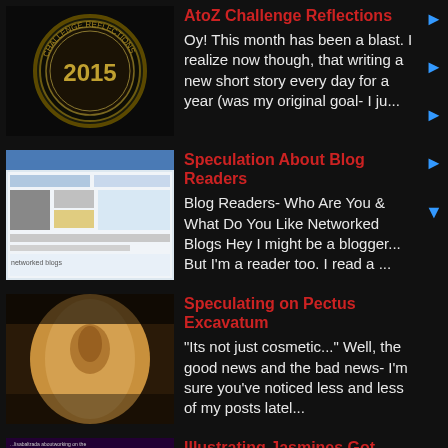[Figure (photo): Circular badge/seal with '2015' text on dark background]
AtoZ Challenge Reflections
Oy! This month has been a blast. I realize now though, that writing a new short story every day for a year (was my original goal- I ju...
[Figure (screenshot): Screenshot of a blog/website page]
Speculation About Blog Readers
Blog Readers- Who Are You & What Do You Like Networked Blogs Hey I might be a blogger... But I'm a reader too. I read a ...
[Figure (photo): Close-up photo of a person's bare chest/torso showing pectus excavatum]
Speculating on Pectus Excavatum
"Its not just cosmetic..." Well, the good news and the bad news- I'm sure you've noticed less and less of my posts latel...
[Figure (photo): Book cover or blog image with woman and text about Jasmine Dreams series]
Illustrating Jasmines Got Talent
Tell us about your latest release? Jasmine's Got Talent! has just been released in both kindle and print formats. It's a c...